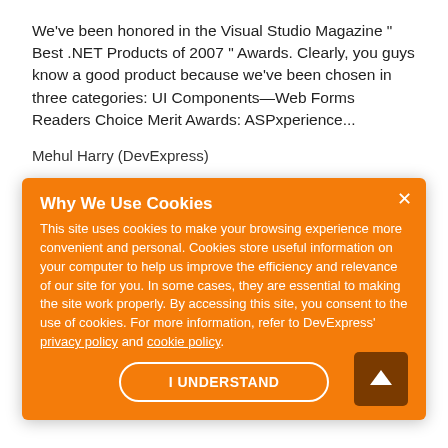We've been honored in the Visual Studio Magazine " Best .NET Products of 2007 " Awards. Clearly, you guys know a good product because we've been chosen in three categories: UI Components—Web Forms Readers Choice Merit Awards: ASPxperience...
Mehul Harry (DevExpress)
6 August 2007
ASP.NET
ASP.NET AWARDS
ASPXPERIENCE
ASPXGRIDVIEW
4 comment(s)
Why We Use Cookies
This site uses cookies to make your browsing experience more convenient and personal. Cookies store useful information on your computer to help us improve the efficiency and relevance of our site for you. In some cases, they are essential to making the site work properly. By accessing this site, you consent to the use of cookies. For more information, refer to DevExpress' privacy policy and cookie policy.
I UNDERSTAND